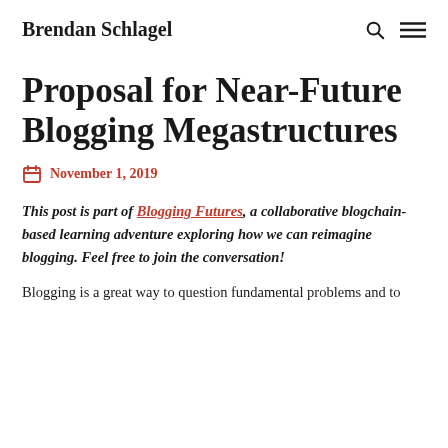Brendan Schlagel
Proposal for Near-Future Blogging Megastructures
November 1, 2019
This post is part of Blogging Futures, a collaborative blogchain-based learning adventure exploring how we can reimagine blogging. Feel free to join the conversation!
Blogging is a great way to question fundamental problems and to...